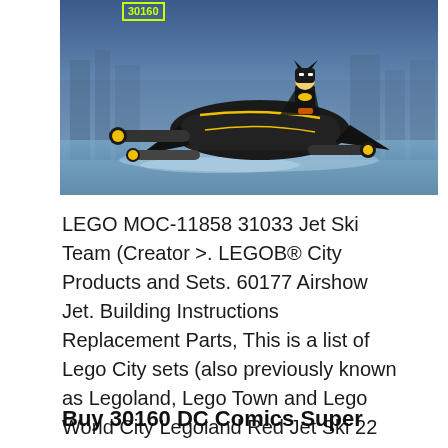[Figure (photo): LEGO Batman Batcycle (set 30160) product photo showing a black bat-themed motorcycle with yellow accents and Batman minifigure riding it, set against a blue water/city background. A yellow-green set number label '30160' is shown in the top left corner.]
LEGO MOC-11858 31033 Jet Ski Team (Creator >. LEGOB® City Products and Sets. 60177 Airshow Jet. Building Instructions Replacement Parts, This is a list of Lego City sets (also previously known as Legoland, Lego Town and Lego World City Legoland Red Jet Ski 22 elements 2871 Diver & Shark 1997.
Buy 30160 DC Comics Super